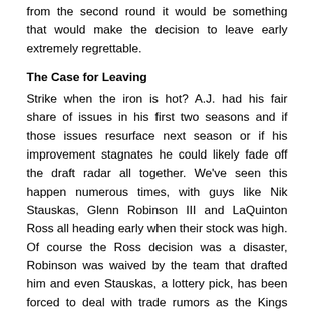from the second round it would be something that would make the decision to leave early extremely regrettable.
The Case for Leaving
Strike when the iron is hot? A.J. had his fair share of issues in his first two seasons and if those issues resurface next season or if his improvement stagnates he could likely fade off the draft radar all together. We've seen this happen numerous times, with guys like Nik Stauskas, Glenn Robinson III and LaQuinton Ross all heading early when their stock was high. Of course the Ross decision was a disaster, Robinson was waived by the team that drafted him and even Stauskas, a lottery pick, has been forced to deal with trade rumors as the Kings impatiently wait for him to play to his potential.